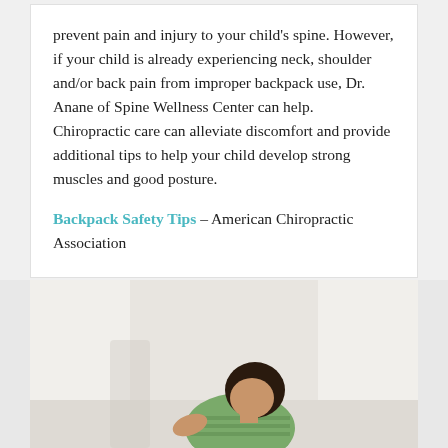prevent pain and injury to your child's spine. However, if your child is already experiencing neck, shoulder and/or back pain from improper backpack use, Dr. Anane of Spine Wellness Center can help.  Chiropractic care can alleviate discomfort and provide additional tips to help your child develop strong muscles and good posture.
Backpack Safety Tips – American Chiropractic Association
[Figure (photo): Photo of a child/person, partially visible at the bottom of the page against a light background]